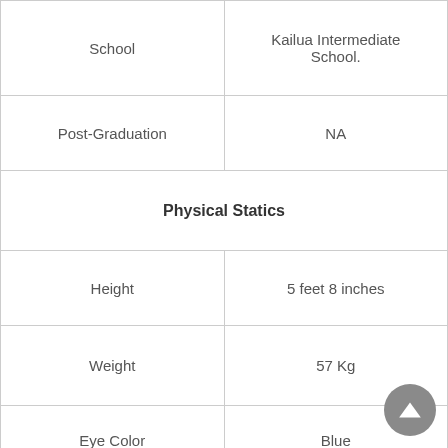|  |  |
| --- | --- |
| School | Kailua Intermediate School. |
| Post-Graduation | NA |
| Physical Statics |  |
| Height | 5 feet 8 inches |
| Weight | 57 Kg |
| Eye Color | Blue |